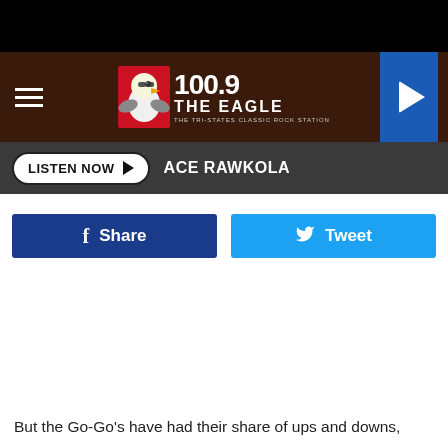[Figure (screenshot): Black top bar, dark wood-textured header with 100.9 The Eagle radio station logo (eagle mascot, frequency 100.9, station name THE EAGLE, subtitle THE TRI-STATES CLASSIC ROCK STATION), hamburger menu icon on left, blue play button on right]
LISTEN NOW ▶  ACE RAWKOLA
[Figure (infographic): Facebook Share button (dark blue) and Twitter Tweet button (cyan/sky blue) side by side]
But the Go-Go's have had their share of ups and downs,